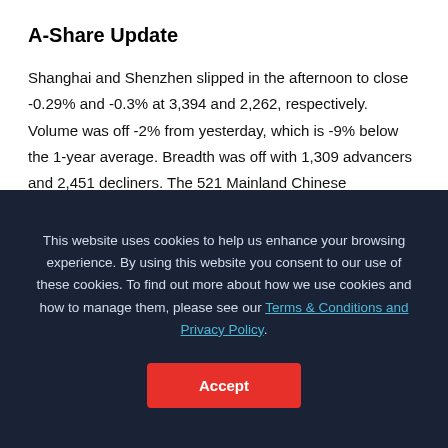A-Share Update
Shanghai and Shenzhen slipped in the afternoon to close -0.29% and -0.3% at 3,394 and 2,262, respectively. Volume was off -2% from yesterday, which is -9% below the 1-year average. Breadth was off with 1,309 advancers and 2,451 decliners. The 521 Mainland Chinese companies within the MSCI China All Shares Index fell -0.42% with energy
This website uses cookies to help us enhance your browsing experience. By using this website you consent to our use of these cookies. To find out more about how we use cookies and how to manage them, please see our Terms & Conditions and Privacy Policy.